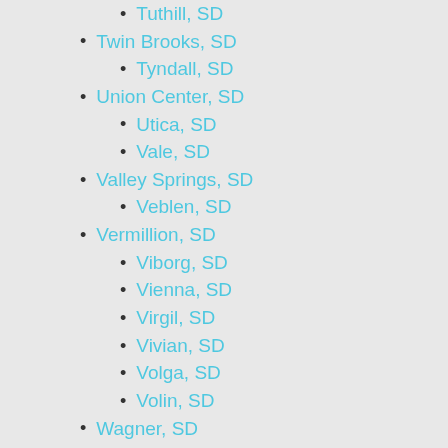Tuthill, SD
Twin Brooks, SD
Tyndall, SD
Union Center, SD
Utica, SD
Vale, SD
Valley Springs, SD
Veblen, SD
Vermillion, SD
Viborg, SD
Vienna, SD
Virgil, SD
Vivian, SD
Volga, SD
Volin, SD
Wagner, SD
Wakonda, SD
Wakpala, SD
Walker, SD
Wall, SD